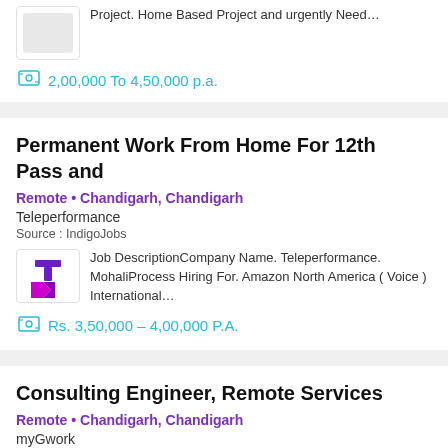Project. Home Based Project and urgently Need…
2,00,000 To 4,50,000 p.a.
Permanent Work From Home For 12th Pass and
Remote • Chandigarh, Chandigarh
Teleperformance
Source : IndigoJobs
Job DescriptionCompany Name. Teleperformance. MohaliProcess Hiring For. Amazon North America ( Voice ) International…
Rs. 3,50,000 – 4,00,000 P.A.
Consulting Engineer, Remote Services
Remote • Chandigarh, Chandigarh
myGwork